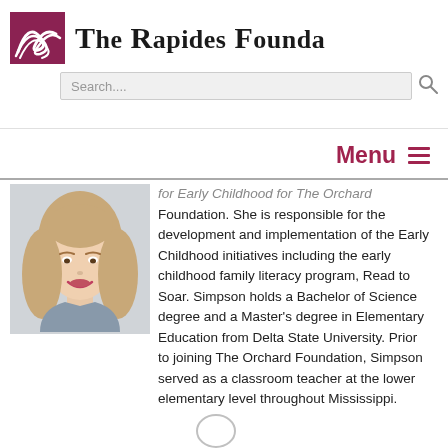The Rapides Foundation
Search....
Menu
[Figure (photo): Portrait photo of a woman with long brown hair, smiling, wearing a gray top]
for Early Childhood for The Orchard Foundation. She is responsible for the development and implementation of the Early Childhood initiatives including the early childhood family literacy program, Read to Soar. Simpson holds a Bachelor of Science degree and a Master's degree in Elementary Education from Delta State University. Prior to joining The Orchard Foundation, Simpson served as a classroom teacher at the lower elementary level throughout Mississippi.